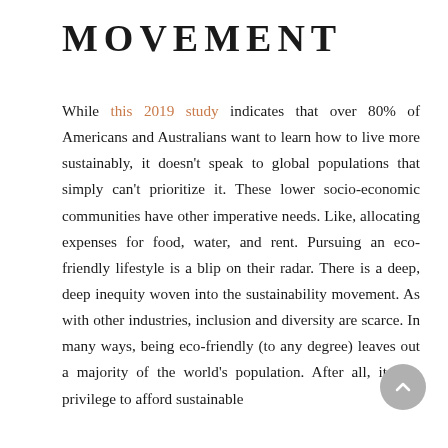MOVEMENT
While this 2019 study indicates that over 80% of Americans and Australians want to learn how to live more sustainably, it doesn't speak to global populations that simply can't prioritize it. These lower socio-economic communities have other imperative needs. Like, allocating expenses for food, water, and rent. Pursuing an eco-friendly lifestyle is a blip on their radar. There is a deep, deep inequity woven into the sustainability movement. As with other industries, inclusion and diversity are scarce. In many ways, being eco-friendly (to any degree) leaves out a majority of the world's population. After all, it is a privilege to afford sustainable